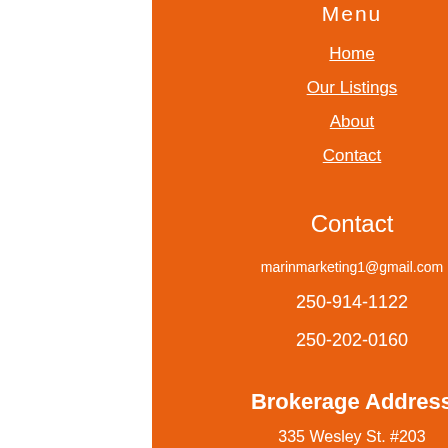Menu
Home
Our Listings
About
Contact
Contact
marinmarketing1@gmail.com
250-914-1122
250-202-0160
Brokerage Address
335 Wesley St. #203
[Figure (photo): Aerial cityscape photo showing a park with a circular pond, green trees, and urban buildings with water in the background]